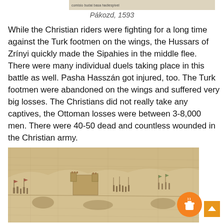[Figure (illustration): Top portion of a historical engraving or illustration of the Battle of Pákozd with text label 'Comisio budai basa hadiespivel']
Pákozd, 1593
While the Christian riders were fighting for a long time against the Turk footmen on the wings, the Hussars of Zrínyi quickly made the Sipahies in the middle flee. There were many individual duels taking place in this battle as well. Pasha Hasszán got injured, too. The Turk footmen were abandoned on the wings and suffered very big losses. The Christians did not really take any captives, the Ottoman losses were between 3-8,000 men. There were 40-50 dead and countless wounded in the Christian army.
[Figure (illustration): Historical engraving/drawing of a battle scene, showing troops and fortifications in the style of a 16th century woodcut or sketch]